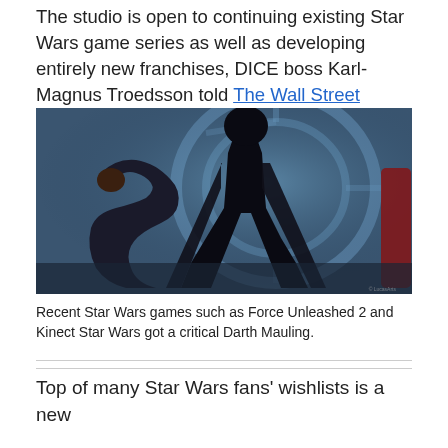The studio is open to continuing existing Star Wars game series as well as developing entirely new franchises, DICE boss Karl-Magnus Troedsson told The Wall Street Journal.
[Figure (illustration): Dark science-fiction game art showing a figure bowing before Darth Vader in a large circular room with blue lighting and Imperial architecture. Caption watermark visible in bottom right corner.]
Recent Star Wars games such as Force Unleashed 2 and Kinect Star Wars got a critical Darth Mauling.
Top of many Star Wars fans' wishlists is a new